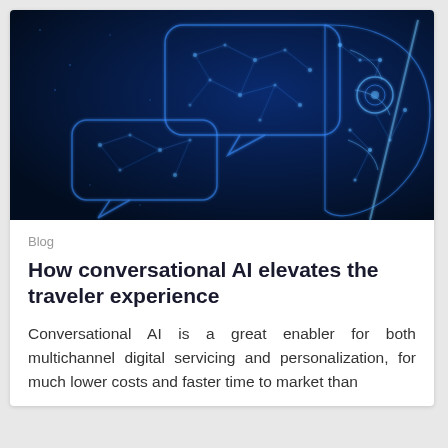[Figure (illustration): Dark blue digital illustration of an AI robot head in profile made of glowing blue geometric lines and dots, with two speech bubble outlines also made of blue glowing geometric network lines, suggesting conversational AI on a dark navy background.]
Blog
How conversational AI elevates the traveler experience
Conversational AI is a great enabler for both multichannel digital servicing and personalization, for much lower costs and faster time to market than